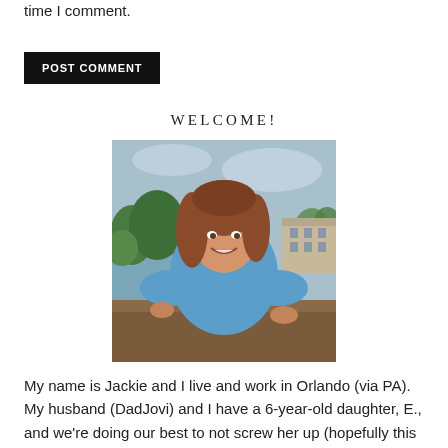time I comment.
POST COMMENT
WELCOME!
[Figure (photo): A smiling woman with brown hair wearing a blue top, standing outdoors near a lake with trees and buildings in the background.]
My name is Jackie and I live and work in Orlando (via PA). My husband (DadJovi) and I have a 6-year-old daughter, E., and we're doing our best to not screw her up (hopefully this blog isn't exhibit A for that future argument). I blog about my efforts to raise a girl